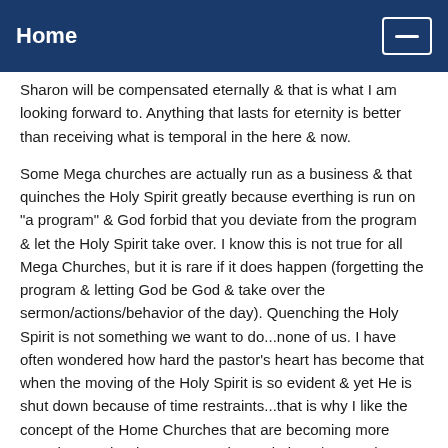Home
Sharon will be compensated eternally & that is what I am looking forward to. Anything that lasts for eternity is better than receiving what is temporal in the here & now.
Some Mega churches are actually run as a business & that quinches the Holy Spirit greatly because everthing is run on "a program" & God forbid that you deviate from the program & let the Holy Spirit take over. I know this is not true for all Mega Churches, but it is rare if it does happen (forgetting the program & letting God be God & take over the sermon/actions/behavior of the day). Quenching the Holy Spirit is not something we want to do...none of us. I have often wondered how hard the pastor's heart has become that when the moving of the Holy Spirit is so evident & yet He is shut down because of time restraints...that is why I like the concept of the Home Churches that are becoming more prevelant as the days pass. In the End Times/Days...the Mega Chruches will not be standing, they won't be allowed too, most everything will be hidden & underground anyway due to the pressure of being recognized as a Christian...much the same in Acts/Jesus' Day.
Don't mistake what I'm saying here...every pastor of a church should be paid, they have to pay their bills also; it is the "big